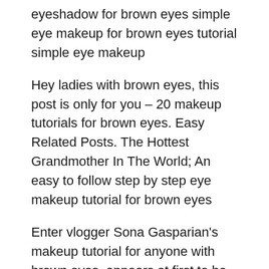eyeshadow for brown eyes simple eye makeup for brown eyes tutorial simple eye makeup
Hey ladies with brown eyes, this post is only for you – 20 makeup tutorials for brown eyes. Easy Related Posts. The Hottest Grandmother In The World; An easy to follow step by step eye makeup tutorial for brown eyes
Enter vlogger Sona Gasparian's makeup tutorial for anyone with brown eyes. appears at first to be an elaborate makeup look into fairly simple steps. Brown Makeup Tutorials For Brown Eyes - See more about Makeup Tutorials For Brown Eyes, makeup tutorials for brown eyes, makeup tutorials for brown eyes and dark skin